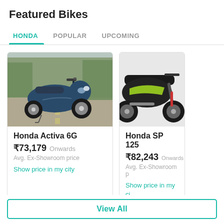Featured Bikes
HONDA | POPULAR | UPCOMING
[Figure (photo): Honda Activa 6G scooter parked on a road surrounded by trees]
Honda Activa 6G
₹73,179  Onwards
Avg. Ex-Showroom price
Show price in my city
[Figure (photo): Honda SP 125 motorcycle, partially visible, black and green color]
Honda SP 125
₹82,243  Onwards
Avg. Ex-Showroom p
Show price in my ci
View All